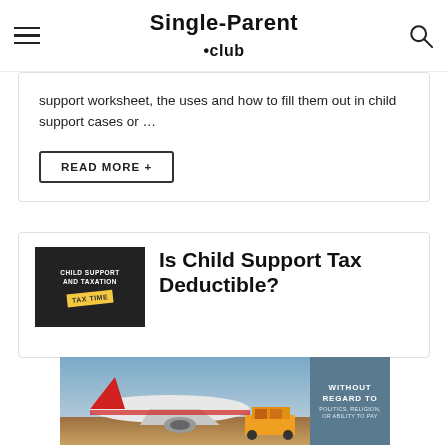Single-Parent .club
support worksheet, the uses and how to fill them out in child support cases or …
READ MORE +
Is Child Support Tax Deductible?
[Figure (photo): Advertisement banner showing an airplane being loaded with cargo, with text 'WITHOUT REGARD TO POLITICS, RELIGION, OR ABILITY TO PAY']